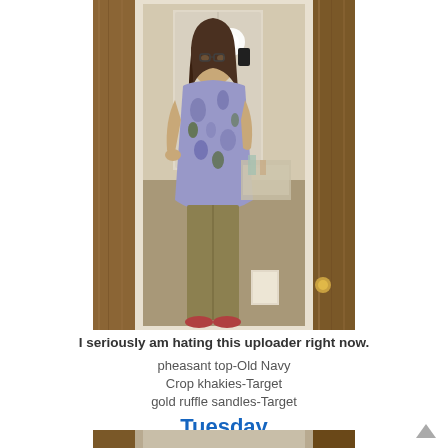[Figure (photo): Mirror selfie of a woman wearing a floral/pheasant print top and crop khakies, taken in a bathroom. The mirror is framed by wooden door panels on either side.]
I seriously am hating this uploader right now.
pheasant top-Old Navy
Crop khakies-Target
gold ruffle sandles-Target
Tuesday
[Figure (photo): Bottom portion of another mirror selfie photo, partially visible at the bottom of the page.]